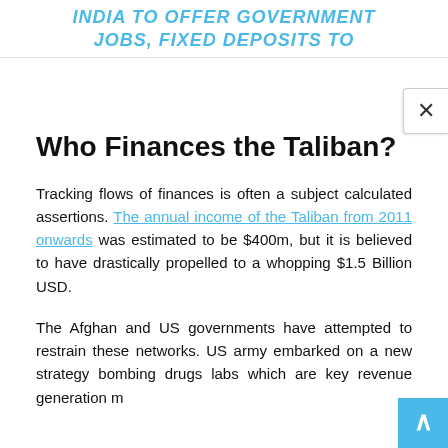INDIA TO OFFER GOVERNMENT JOBS, FIXED DEPOSITS TO
Who Finances the Taliban?
Tracking flows of finances is often a subject calculated assertions. The annual income of the Taliban from 2011 onwards was estimated to be $400m, but it is believed to have drastically propelled to a whopping $1.5 Billion USD.
The Afghan and US governments have attempted to restrain these networks. US army embarked on a new strategy bombing drugs labs which are key revenue generation m